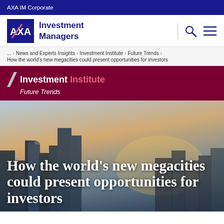AXA IM Corporate
[Figure (logo): AXA Investment Managers logo with search and menu icons]
... > News and Experts Insights > Investment Institute > Future Trends > How the world's new megacities could present opportunities for investors
[Figure (logo): Investment Institute Future Trends branding on dark red background with slash icon]
How the world's new megacities could present opportunities for investors